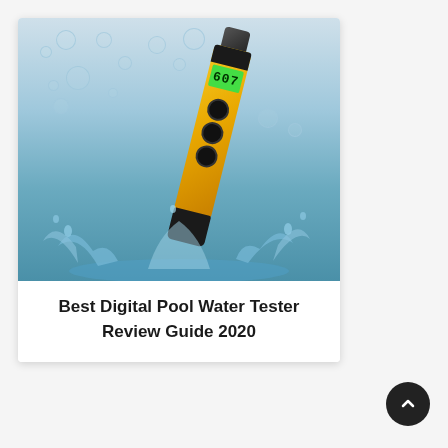[Figure (photo): A yellow and black digital TDS/EC pool water tester pen splashing into water with bubbles in the background, showing a green LCD display reading 607]
Best Digital Pool Water Tester Review Guide 2020